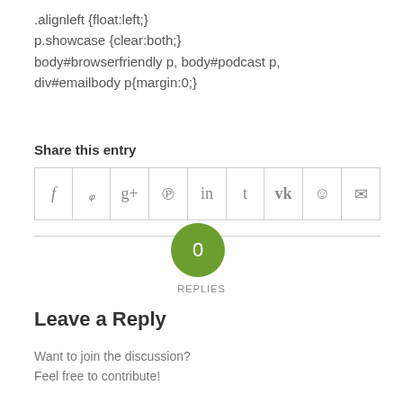.alignleft {float:left;}
p.showcase {clear:both;}
body#browserfriendly p, body#podcast p, div#emailbody p{margin:0;}
Share this entry
[Figure (other): Social sharing icon row with icons for Facebook, Twitter, Google+, Pinterest, LinkedIn, Tumblr, VK, Reddit, and Email in a bordered table layout.]
0
REPLIES
Leave a Reply
Want to join the discussion?
Feel free to contribute!